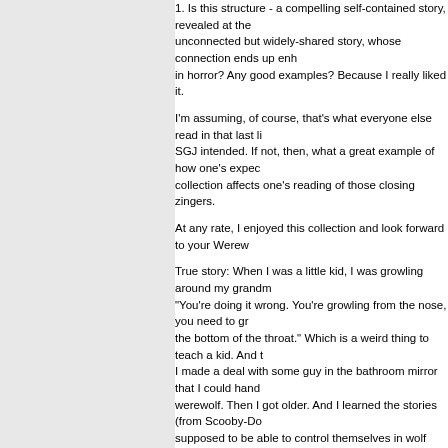1. Is this structure - a compelling self-contained story, revealed at the... unconnected but widely-shared story, whose connection ends up en... in horror? Any good examples? Because I really liked it.
I'm assuming, of course, that's what everyone else read in that last li... SGJ intended. If not, then, what a great example of how one's expec... collection affects one's reading of those closing zingers.
At any rate, I enjoyed this collection and look forward to your Werew...
True story: When I was a little kid, I was growling around my grandm... "You're doing it wrong. You're growling from the nose, you need to gr... the bottom of the throat." Which is a weird thing to teach a kid. And th... I made a deal with some guy in the bathroom mirror that I could hanc... werewolf. Then I got older. And I learned the stories (from Scooby-Do... supposed to be able to control themselves in wolf form, and ate othe... and I got terrified that I had made a horrible mistake. Then my adult c... so the dentist filed them down to be even with my incisors. Playing ca... thrilled to run in the woods at night, hopping through briars and over... I saw the rage in my father, and my brother, and my sister, how we c... places there hadn't been hair before. My voice did get more gutteral... throat, if I wanted. (I didn't). When certain girls passed by me, I felt li... hear their voices more sharply, sense their arms brush my arms mo... moon, I was nervous of what would happen. I waited. Turns out, it wa...
But I've always felt a connection to werewolves over all the other mo... story has ever resonated the way TeenWolf did. (Don't get me wron...